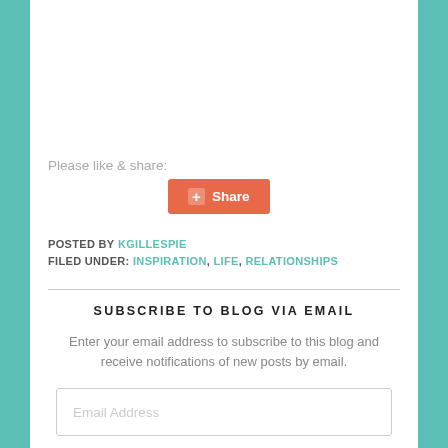Please like & share:
[Figure (other): Orange share button with plus icon and 'Share' text]
POSTED BY KGILLESPIE
FILED UNDER: INSPIRATION, LIFE, RELATIONSHIPS
SUBSCRIBE TO BLOG VIA EMAIL
Enter your email address to subscribe to this blog and receive notifications of new posts by email.
Email Address